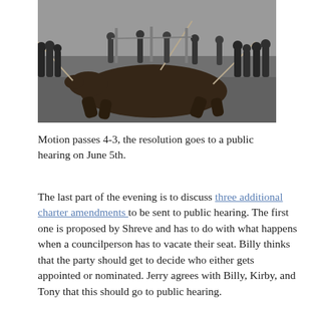[Figure (photo): Black and white historical photograph showing a large animal (likely a horse or bull) lying on the ground, with a group of people standing around it holding ropes.]
Motion passes 4-3, the resolution goes to a public hearing on June 5th.
The last part of the evening is to discuss three additional charter amendments to be sent to public hearing. The first one is proposed by Shreve and has to do with what happens when a councilperson has to vacate their seat. Billy thinks that the party should get to decide who either gets appointed or nominated. Jerry agrees with Billy, Kirby, and Tony that this should go to public hearing.